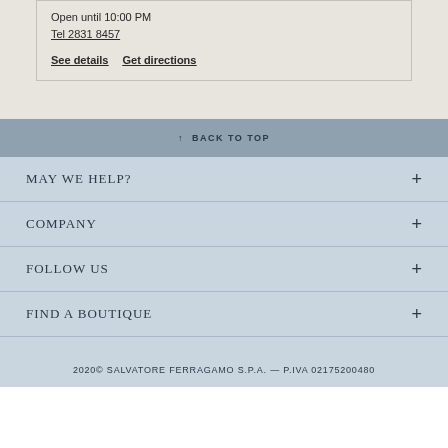Open until 10:00 PM
Tel 2831 8457
See details   Get directions
↑ BACK TO TOP
MAY WE HELP?
COMPANY
FOLLOW US
FIND A BOUTIQUE
2020© SALVATORE FERRAGAMO S.P.A. — P.IVA 02175200480